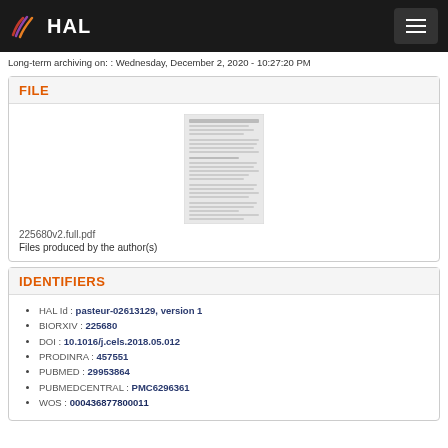HAL
Long-term archiving on: : Wednesday, December 2, 2020 - 10:27:20 PM
FILE
[Figure (other): Thumbnail preview of PDF document 225680v2.full.pdf]
225680v2.full.pdf
Files produced by the author(s)
IDENTIFIERS
HAL Id : pasteur-02613129, version 1
BIORXIV : 225680
DOI : 10.1016/j.cels.2018.05.012
PRODINRA : 457551
PUBMED : 29953864
PUBMEDCENTRAL : PMC6296361
WOS : 000436877800011